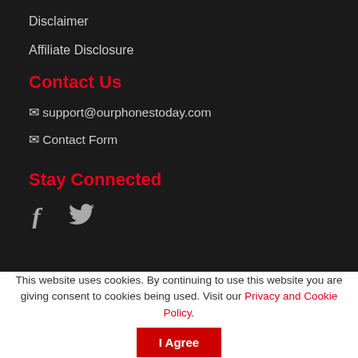Disclaimer
Affiliate Disclosure
Contact Us
✉ support@ourphonestoday.com
✉ Contact Form
Stay Connected
[Figure (other): Social media icons: Facebook and Twitter]
This website uses cookies. By continuing to use this website you are giving consent to cookies being used. Visit our Privacy and Cookie Policy.
I Agree